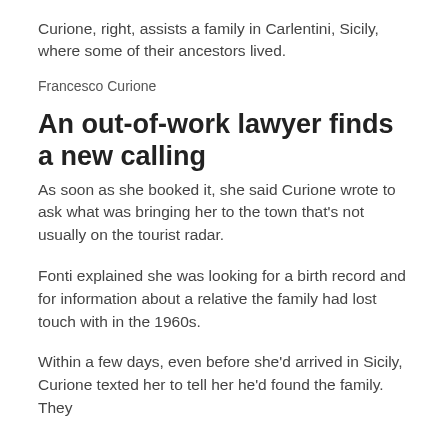Curione, right, assists a family in Carlentini, Sicily, where some of their ancestors lived.
Francesco Curione
An out-of-work lawyer finds a new calling
As soon as she booked it, she said Curione wrote to ask what was bringing her to the town that's not usually on the tourist radar.
Fonti explained she was looking for a birth record and for information about a relative the family had lost touch with in the 1960s.
Within a few days, even before she'd arrived in Sicily, Curione texted her to tell her he'd found the family. They